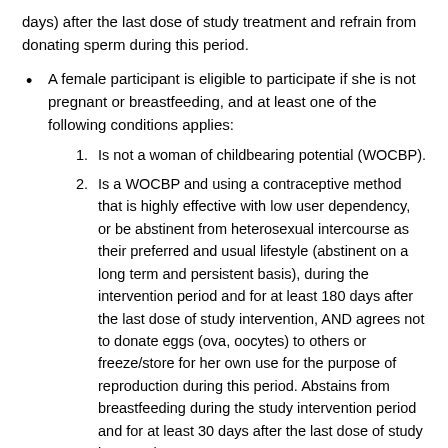days) after the last dose of study treatment and refrain from donating sperm during this period.
A female participant is eligible to participate if she is not pregnant or breastfeeding, and at least one of the following conditions applies:
1. Is not a woman of childbearing potential (WOCBP).
2. Is a WOCBP and using a contraceptive method that is highly effective with low user dependency, or be abstinent from heterosexual intercourse as their preferred and usual lifestyle (abstinent on a long term and persistent basis), during the intervention period and for at least 180 days after the last dose of study intervention, AND agrees not to donate eggs (ova, oocytes) to others or freeze/store for her own use for the purpose of reproduction during this period. Abstains from breastfeeding during the study intervention period and for at least 30 days after the last dose of study intervention.